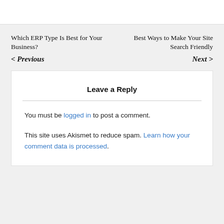Which ERP Type Is Best for Your Business?
< Previous
Best Ways to Make Your Site Search Friendly
Next >
Leave a Reply
You must be logged in to post a comment.
This site uses Akismet to reduce spam. Learn how your comment data is processed.